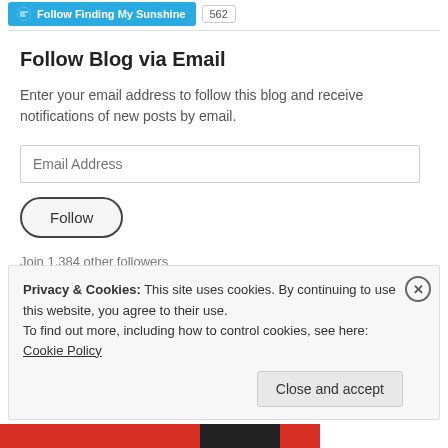[Figure (screenshot): WordPress Follow Finding My Sunshine button with follower count badge showing 562]
Follow Blog via Email
Enter your email address to follow this blog and receive notifications of new posts by email.
Email Address
Follow
Join 1,384 other followers
Privacy & Cookies: This site uses cookies. By continuing to use this website, you agree to their use.
To find out more, including how to control cookies, see here: Cookie Policy
Close and accept